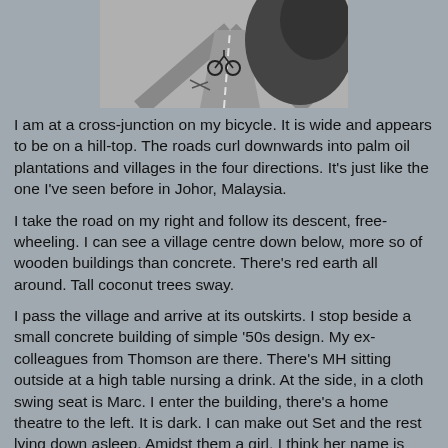[Figure (photo): Black and white photo of a cross-junction road scene, likely showing a bicycle or road with surrounding vegetation/terrain.]
I am at a cross-junction on my bicycle. It is wide and appears to be on a hill-top. The roads curl downwards into palm oil plantations and villages in the four directions. It's just like the one I've seen before in Johor, Malaysia.
I take the road on my right and follow its descent, free-wheeling. I can see a village centre down below, more so of wooden buildings than concrete. There's red earth all around. Tall coconut trees sway.
I pass the village and arrive at its outskirts. I stop beside a small concrete building of simple '50s design. My ex-colleagues from Thomson are there. There's MH sitting outside at a high table nursing a drink. At the side, in a cloth swing seat is Marc. I enter the building, there's a home theatre to the left. It is dark. I can make out Set and the rest lying down asleep. Amidst them a girl. I think her name is Kris. They must have done an all-nighter karaoke session again.